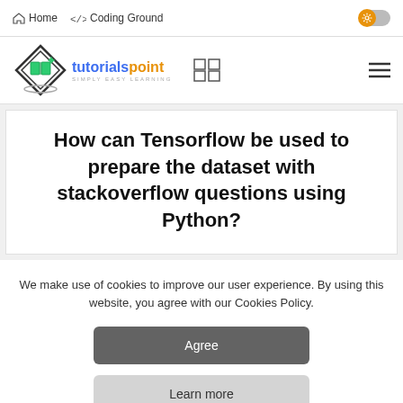Home  />  Coding Ground
[Figure (logo): Tutorialspoint logo with diamond shape and book icon, text reading 'tutorialspoint SIMPLY EASY LEARNING']
How can Tensorflow be used to prepare the dataset with stackoverflow questions using Python?
We make use of cookies to improve our user experience. By using this website, you agree with our Cookies Policy.
Agree
Learn more